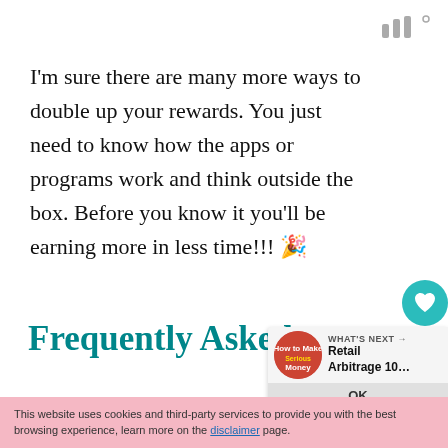[Figure (logo): Stylized triple-bar logo mark with small degree symbol, gray color, top right corner]
I'm sure there are many more ways to double up your rewards. You just need to know how the apps or programs work and think outside the box. Before you know it you'll be earning more in less time!!! 🎉
Frequently Asked
[Figure (infographic): Side action buttons: heart/like button with count 2, and share button, teal circular icons on right side]
[Figure (infographic): What's Next card showing Retail Arbitrage 10... article thumbnail with OK button]
This website uses cookies and third-party services to provide you with the best browsing experience, learn more on the disclaimer page.